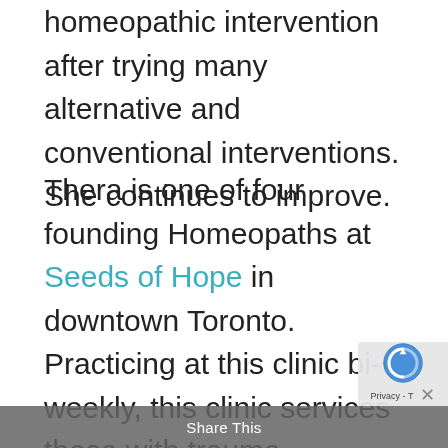homeopathic intervention after trying many alternative and conventional interventions. She continues to improve.
Thera is one of four founding Homeopaths at Seeds of Hope in downtown Toronto. Practicing at this clinic bi-weekly, this clinic services those with trauma, addiction and mental health. Thera also holds monthly clinics for migrant workers in Beamsville, Ontario. She has also volunteered in Africa where she worked with hundreds of HIV/AIDS patients reducing symptoms related to HIV/AIDS itself (such as nausea, wasting, fevers, sore
Share This